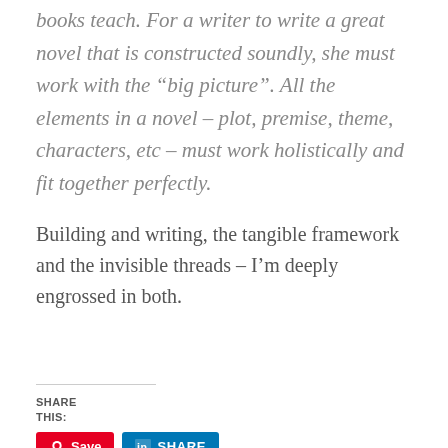books teach. For a writer to write a great novel that is constructed soundly, she must work with the “big picture”. All the elements in a novel – plot, premise, theme, characters, etc – must work holistically and fit together perfectly.
Building and writing, the tangible framework and the invisible threads – I’m deeply engrossed in both.
SHARE THIS:
[Figure (other): Social share buttons: Pinterest Save button (red), LinkedIn SHARE button (blue), and Email button (light gray)]